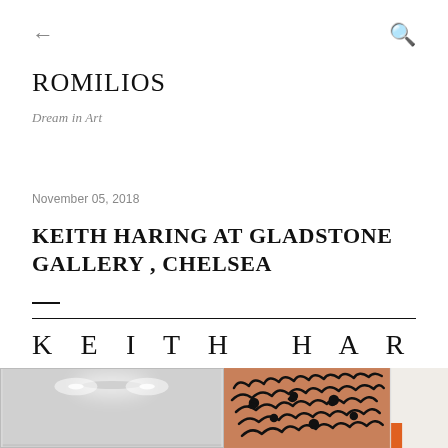← (back) … (search)
ROMILIOS
Dream in Art
November 05, 2018
KEITH HARING AT GLADSTONE GALLERY , CHELSEA
[Figure (logo): Keith Haring logo with two horizontal lines and text 'KEITH HARING' in spaced serif capitals, with 'GLADSTONE GALLERY NYC' below]
[Figure (photo): Three cropped photos: left showing a gallery interior with ceiling lights, middle showing a Keith Haring artwork with black squiggly figures on terracotta/pink background, right showing a partial gallery wall with orange accent.]